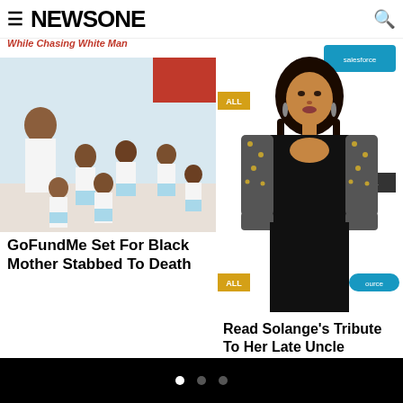NEWSONE
While Chasing White Man
[Figure (photo): Group photo of a Black mother with several young children dressed in white outfits]
GoFundMe Set For Black Mother Stabbed To Death
[Figure (photo): Woman in black outfit with cut-out design and fishnet sleeves at an event with Salesforce and Town Hall branding]
Read Solange's Tribute To Her Late Uncle Johnny